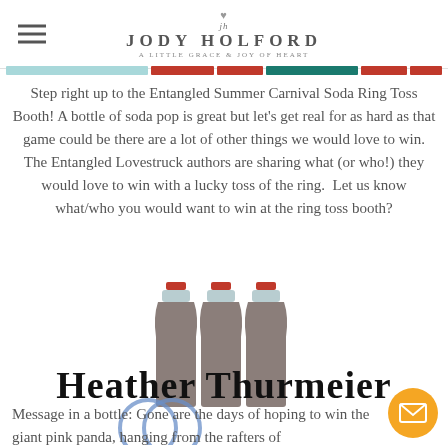Jody Holford — A Little Grace & Joy of Heart
Step right up to the Entangled Summer Carnival Soda Ring Toss Booth! A bottle of soda pop is great but let's get real for as hard as that game could be there are a lot of other things we would love to win. The Entangled Lovestruck authors are sharing what (or who!) they would love to win with a lucky toss of the ring.  Let us know what/who you would want to win at the ring toss booth?
[Figure (illustration): Three dark brown/grey soda bottles with red caps, accompanied by blue overlapping rings below, illustrating a ring toss carnival game. The text 'Heather Thurmeier' overlays the image in bold serif font.]
Message in a bottle: Gone are the days of hoping to win the giant pink panda, hanging from the rafters of